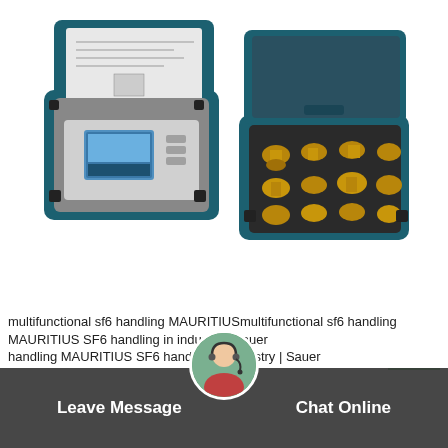[Figure (photo): Two open blue Peli/systainer-style cases: left case contains an SF6 gas handling device with touchscreen display, right case contains brass fittings and adapters on foam insert]
cheap name of sf6 in MAURITIUS
multifunctional sf6 handling MAURITIUSmultifunctional sf6 handling MAURITIUS SF6 handling in industry | Sauer
Leave Message
Chat Online